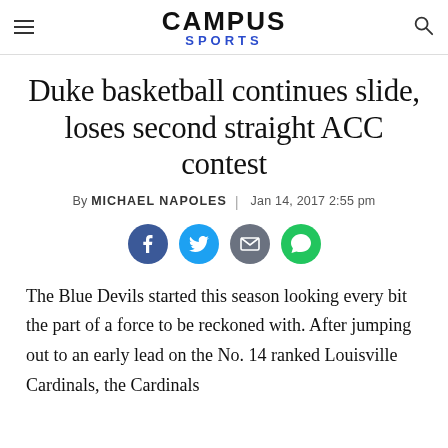CAMPUS SPORTS
Duke basketball continues slide, loses second straight ACC contest
By MICHAEL NAPOLES | Jan 14, 2017 2:55 pm
[Figure (other): Social sharing icons: Facebook, Twitter, Email, Message]
The Blue Devils started this season looking every bit the part of a force to be reckoned with. After jumping out to an early lead on the No. 14 ranked Louisville Cardinals, the Cardinals